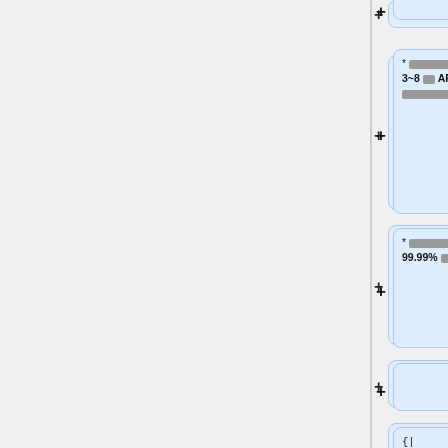[Figure (screenshot): Wiki diff/edit interface showing a left gray panel and right column with diff cards. Card 1 (top, partial): empty blue card with + button. Card 2: * [redacted text] 3~8 [redacted] API [redacted] [redacted]. Card 3: * [redacted text] 99.99% [redacted]. Card 4: empty blue card with + button. Card 5: code snippet '{| style="margin-left: auto; margin-right: auto; border: none;"'. Card 6: code snippet '|- style="vertical-align: top"'. Card 7: code snippet '| [[File:CaiyunIntro.015.jpeg|thumb|[redacted]]]'.]